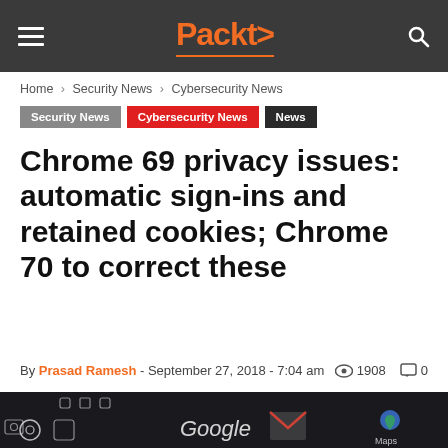Packt> [hamburger menu] [search icon]
Home › Security News › Cybersecurity News
Security News | Cybersecurity News | News
Chrome 69 privacy issues: automatic sign-ins and retained cookies; Chrome 70 to correct these
By Prasad Ramesh - September 27, 2018 - 7:04 am  1908  0
[Figure (photo): Close-up of an Android phone screen showing Google app icons including Google, Gmail, and Maps]